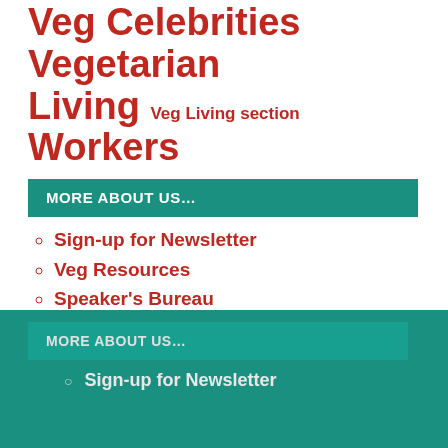Veg Celebrities Vegetarian Living Veg Living section Workers
MORE ABOUT US…
Sign-up for Newsletter
Veg Resources
Speaker's Bureau
Prescribe Vegetarian Campaign
Plant-Based Diets in Medicine
About Us
Contact Us
MORE ABOUT US…
Sign-up for Newsletter